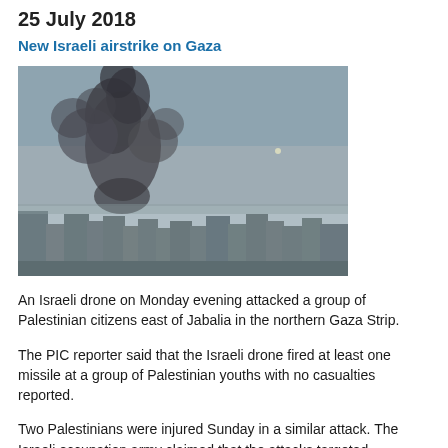25 July 2018
New Israeli airstrike on Gaza
[Figure (photo): Smoke and dust rising over Gaza city buildings during an Israeli airstrike, viewed from a distance with a hazy sky background.]
An Israeli drone on Monday evening attacked a group of Palestinian citizens east of Jabalia in the northern Gaza Strip.
The PIC reporter said that the Israeli drone fired at least one missile at a group of Palestinian youths with no casualties reported.
Two Palestinians were injured Sunday in a similar attack. The Israeli occupation army claimed that the attacks targeted Palestinians trying to fly fire kites and balloons toward Israeli settlements neighboring the Gaza Strip.